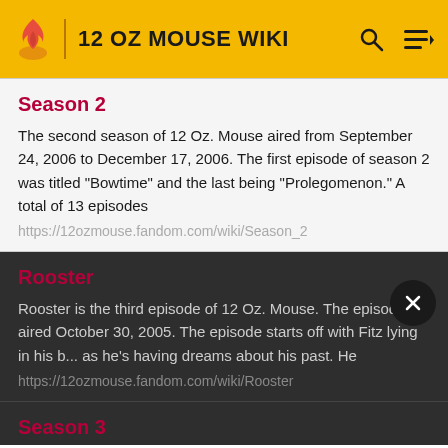12 OZ MOUSE WIKI
Season 2
The second season of 12 Oz. Mouse aired from September 24, 2006 to December 17, 2006. The first episode of season 2 was titled "Bowtime" and the last being "Prolegomenon." A total of 13 episodes
https://12ozmouse.fandom.com/wiki/Season_2
Rooster
Rooster is the third episode of 12 Oz. Mouse. The episode aired October 30, 2005. The episode starts off with Fitz lying in his b... as he's having dreams about his past. He
https://12ozmouse.fandom.com/wiki/Rooster
Season 3